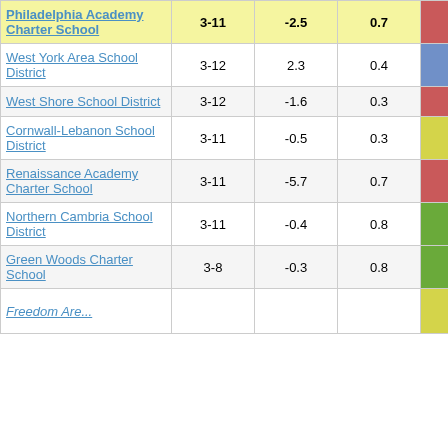| School/District | Grades | Col3 | Col4 | Score |
| --- | --- | --- | --- | --- |
| Philadelphia Academy Charter School | 3-11 | -2.5 | 0.7 | -3.55 |
| West York Area School District | 3-12 | 2.3 | 0.4 | 5.18 |
| West Shore School District | 3-12 | -1.6 | 0.3 | -5.93 |
| Cornwall-Lebanon School District | 3-11 | -0.5 | 0.3 | -1.48 |
| Renaissance Academy Charter School | 3-11 | -5.7 | 0.7 | -8.29 |
| Northern Cambria School District | 3-11 | -0.4 | 0.8 | -0.51 |
| Green Woods Charter School | 3-8 | -0.3 | 0.8 | -0.38 |
| Freedom Area... |  |  |  |  |